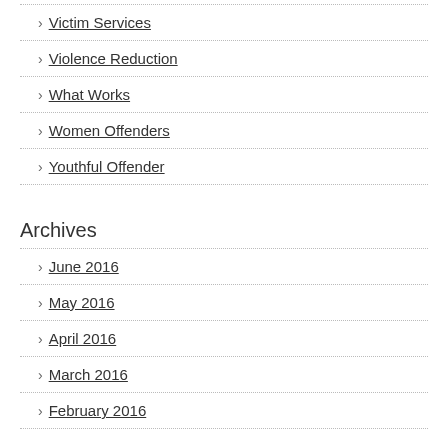Victim Services
Violence Reduction
What Works
Women Offenders
Youthful Offender
Archives
June 2016
May 2016
April 2016
March 2016
February 2016